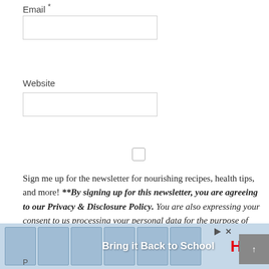Email *
[Figure (other): Email text input field (empty)]
Website
[Figure (other): Website text input field (empty)]
[Figure (other): Checkbox (unchecked)]
Sign me up for the newsletter for nourishing recipes, health tips, and more! **By signing up for this newsletter, you are agreeing to our Privacy & Disclosure Policy. You are also expressing your consent to us processing your personal data for the purpose of sending you updates, freebies, and discounts. You can withdraw consent at anytime.
[Figure (other): H&M advertisement banner: Bring it Back to School]
P